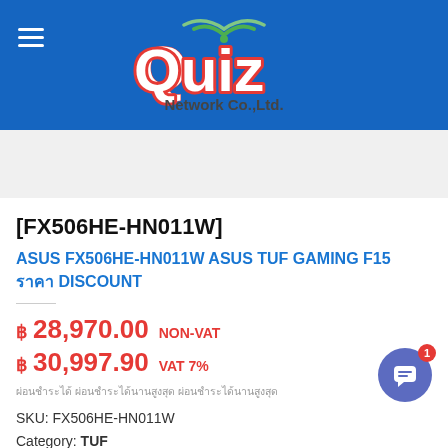[Figure (logo): Quiz Network Co.,Ltd. logo with wifi signal icon and colorful rounded lettering on blue header bar]
[FX506HE-HN011W]
ASUS FX506HE-HN011W ASUS TUF GAMING F15 ราคา DISCOUNT
฿ 28,970.00 NON-VAT
฿ 30,997.90 VAT 7%
ผ่อนชำระได้ ผ่อนชำระได้นานสูงสุด ผ่อนชำระได้นานสูงสุด
SKU: FX506HE-HN011W
Category: TUF